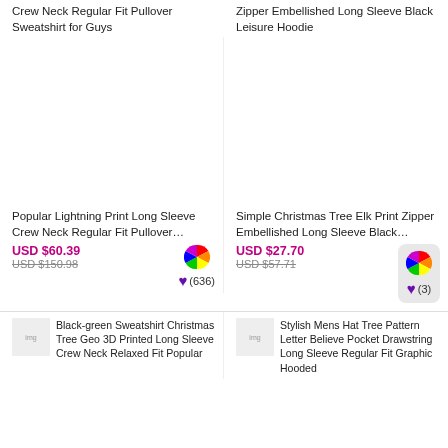Crew Neck Regular Fit Pullover Sweatshirt for Guys
Zipper Embellished Long Sleeve Black Leisure Hoodie
[Figure (photo): Product image area for lightning print sweatshirt (blank/loading)]
[Figure (photo): Product image area for Christmas tree elk print hoodie (blank/loading)]
Popular Lightning Print Long Sleeve Crew Neck Regular Fit Pullover…
USD $60.39
USD $150.98
(636)
Simple Christmas Tree Elk Print Zipper Embellished Long Sleeve Black…
USD $27.70
USD $57.71
(3)
[Figure (photo): Black-green Sweatshirt Christmas Tree Geo 3D Printed Long Sleeve Crew Neck Relaxed Fit Popular thumbnail]
Black-green Sweatshirt Christmas Tree Geo 3D Printed Long Sleeve Crew Neck Relaxed Fit Popular
[Figure (photo): Stylish Mens Hat Tree Pattern Letter Believe Pocket Drawstring Long Sleeve Regular Fit Graphic Hooded thumbnail]
Stylish Mens Hat Tree Pattern Letter Believe Pocket Drawstring Long Sleeve Regular Fit Graphic Hooded